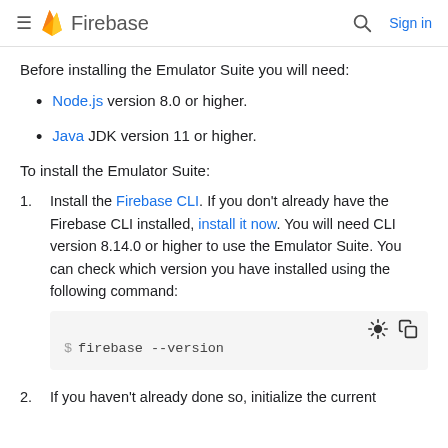Firebase
Before installing the Emulator Suite you will need:
Node.js version 8.0 or higher.
Java JDK version 11 or higher.
To install the Emulator Suite:
1. Install the Firebase CLI. If you don't already have the Firebase CLI installed, install it now. You will need CLI version 8.14.0 or higher to use the Emulator Suite. You can check which version you have installed using the following command:
$ firebase --version
2. If you haven't already done so, initialize the current